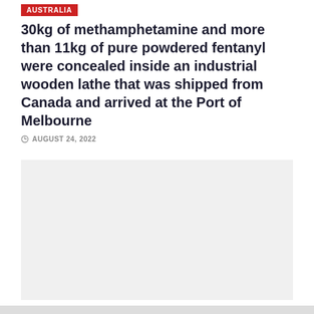AUSTRALIA
30kg of methamphetamine and more than 11kg of pure powdered fentanyl were concealed inside an industrial wooden lathe that was shipped from Canada and arrived at the Port of Melbourne
AUGUST 24, 2022
[Figure (photo): Grey placeholder image for article]
BREAKING
Police in Scarborough have welcomed the jailing of a local Class A drug dealer